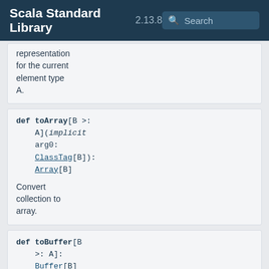Scala Standard Library 2.13.8 Search
representation for the current element type A.
def toArray[B >: A](implicit arg0: ClassTag[B]): Array[B]
Convert collection to array.
def toBuffer[B >: A]: Buffer[B]
def toIndexedSeq: immutable.Ind
def toList: immutable.Lis